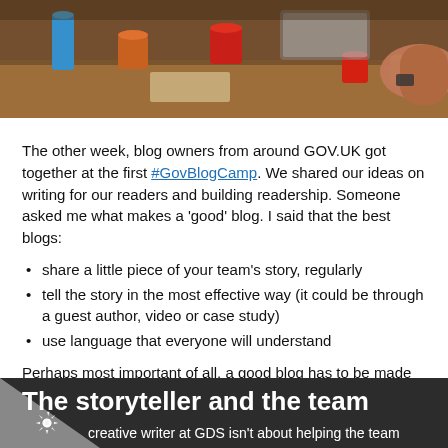[Figure (photo): People sitting around a table with mugs and drinks, viewed from above, at what appears to be a meeting or camp gathering.]
The other week, blog owners from around GOV.UK got together at the first #GovBlogCamp. We shared our ideas on writing for our readers and building readership. Someone asked me what makes a 'good' blog. I said that the best blogs:
share a little piece of your team's story, regularly
tell the story in the most effective way (it could be through a guest author, video or case study)
use language that everyone will understand
Perhaps most important of all, a good blog has to be made up of posts that are as engaging as they are accurate. And to write posts like that, the writer and the team's subject matter experts have to work together.
The storyteller and the team
creative writer at GDS isn't about helping the team